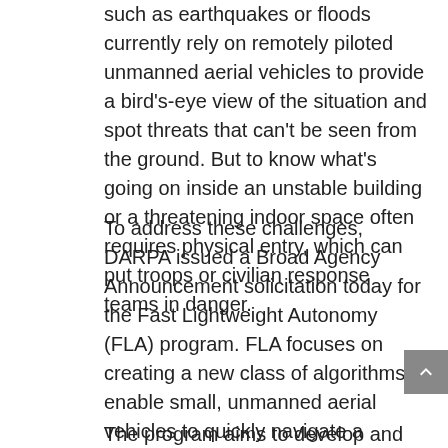such as earthquakes or floods currently rely on remotely piloted unmanned aerial vehicles to provide a bird's-eye view of the situation and spot threats that can't be seen from the ground. But to know what's going on inside an unstable building or a threatening indoor space often requires physical entry, which can put troops or civilian response teams in danger.
To address these challenges, DARPA issued a Broad Agency Announcement solicitation today for the Fast Lightweight Autonomy (FLA) program. FLA focuses on creating a new class of algorithms to enable small, unmanned aerial vehicles to quickly navigate a labyrinth of rooms, stairways and corridors or other obstacle-filled environments without a remote pilot. The solicitation is available here: http://go.usa.gov/MGWx
The program aims to develop and demonstrate autonomous UAVs small enough to fit through an open